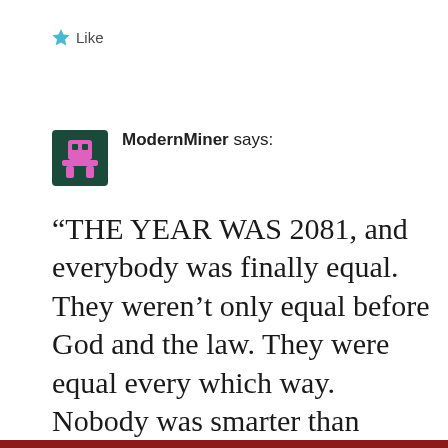★ Like
ModernMiner says:
“THE YEAR WAS 2081, and everybody was finally equal. They weren’t only equal before God and the law. They were equal every which way. Nobody was smarter than anybody else. Nobody was better looking than anybody